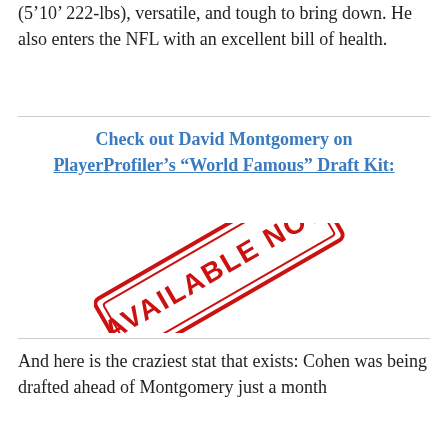(5'10' 222-lbs), versatile, and tough to bring down. He also enters the NFL with an excellent bill of health.
Check out David Montgomery on PlayerProfiler's "World Famous" Draft Kit:
[Figure (illustration): Red rubber stamp graphic reading AVAILABLE NOW at an angle]
And here is the craziest stat that exists: Cohen was being drafted ahead of Montgomery just a month